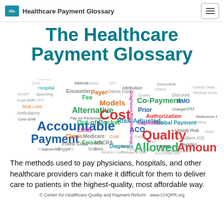Healthcare Payment Glossary
The Healthcare Payment Glossary
[Figure (infographic): Word cloud showing healthcare payment terms of varying sizes and colors including: Co-Payment, Quality, Accountable, Payment, Cost, Allowed Amount, Alternative Models, Out-of-Pocket, Medicare, Episode, Claims, ACO, MACRA, Capitation, Global Payment, Prior Authorization, Diagnosis Related Group, Risk-Adjusted, Encounter, Fee, Payer, Hospital, Stop Loss, Fixed Cost, Resource Use, ICD, Outliers, Bundled, and many more]
The methods used to pay physicians, hospitals, and other healthcare providers can make it difficult for them to deliver care to patients in the highest-quality, most affordable way.
© Center for Healthcare Quality and Payment Reform   www.CHQPR.org